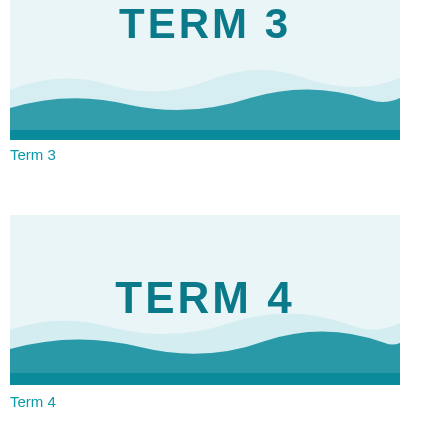[Figure (illustration): Slide thumbnail with teal wave decoration and bold teal text reading TERM 3 on a light blue background]
Term 3
[Figure (illustration): Slide thumbnail with teal wave decoration and bold teal text reading TERM 4 on a light blue background]
Term 4